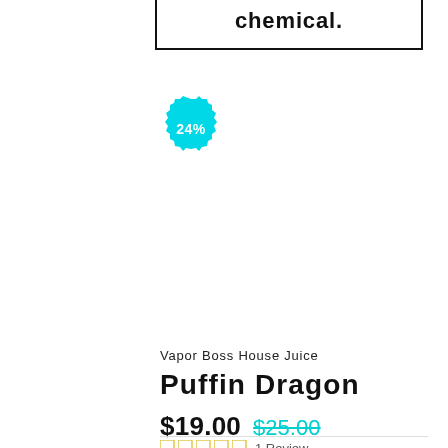chemical.
[Figure (other): Cyan badge/sticker with '24%' text]
Vapor Boss House Juice
Puffin Dragon
$19.00  $25.00
1 Review
Ml